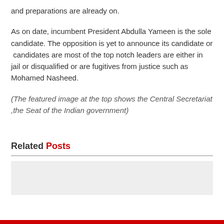and preparations are already on.
As on date, incumbent President Abdulla Yameen is the sole candidate. The opposition is yet to announce its candidate or candidates are most of the top notch leaders are either in jail or disqualified or are fugitives from justice such as Mohamed Nasheed.
(The featured image at the top shows the Central Secretariat ,the Seat of the Indian government)
Related Posts
[Figure (photo): Placeholder image for a related post]